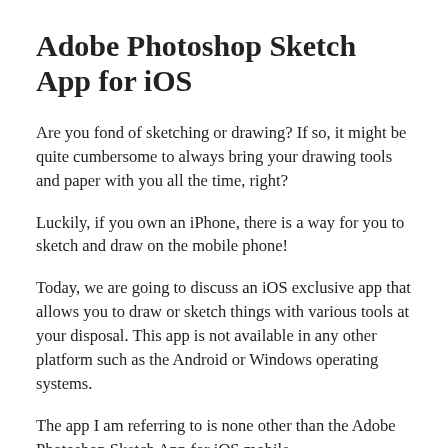Adobe Photoshop Sketch App for iOS
Are you fond of sketching or drawing? If so, it might be quite cumbersome to always bring your drawing tools and paper with you all the time, right?
Luckily, if you own an iPhone, there is a way for you to sketch and draw on the mobile phone!
Today, we are going to discuss an iOS exclusive app that allows you to draw or sketch things with various tools at your disposal. This app is not available in any other platform such as the Android or Windows operating systems.
The app I am referring to is none other than the Adobe Photoshop Sketch App for iOS mobile